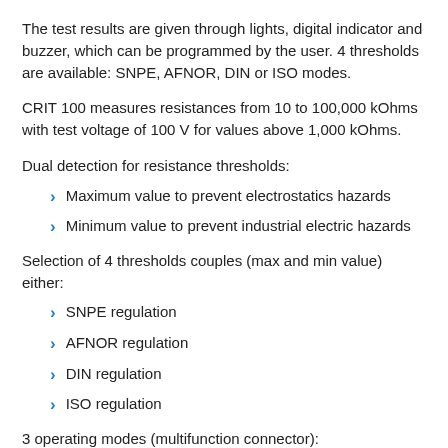The test results are given through lights, digital indicator and buzzer, which can be programmed by the user. 4 thresholds are available: SNPE, AFNOR, DIN or ISO modes.
CRIT 100 measures resistances from 10 to 100,000 kOhms with test voltage of 100 V for values above 1,000 kOhms.
Dual detection for resistance thresholds:
Maximum value to prevent electrostatics hazards
Minimum value to prevent industrial electric hazards
Selection of 4 thresholds couples (max and min value) either:
SNPE regulation
AFNOR regulation
DIN regulation
ISO regulation
3 operating modes (multifunction connector):